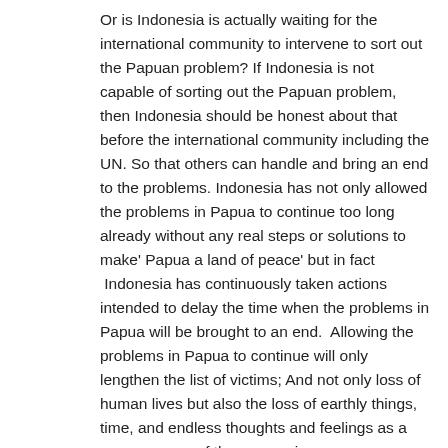Or is Indonesia is actually waiting for the international community to intervene to sort out the Papuan problem? If Indonesia is not capable of sorting out the Papuan problem, then Indonesia should be honest about that before the international community including the UN. So that others can handle and bring an end to the problems. Indonesia has not only allowed the problems in Papua to continue too long already without any real steps or solutions to make' Papua a land of peace' but in fact  Indonesia has continuously taken actions intended to delay the time when the problems in Papua will be brought to an end.  Allowing the problems in Papua to continue will only lengthen the list of victims; And not only loss of human lives but also the loss of earthly things, time, and endless thoughts and feelings as a consequence of the oppression.
The international community including the USA, have again and again requested Indonesia to bring an end to the problems in Papua through means of dialogue